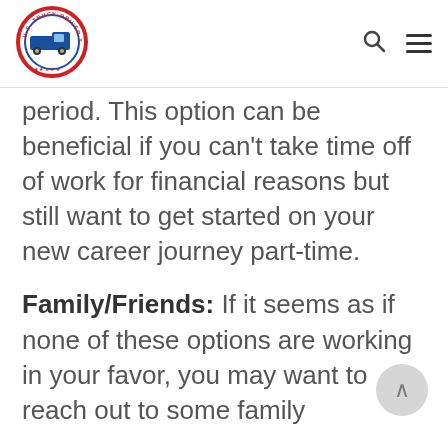[Figure (logo): U.S. Truck Driver Training School circular logo with truck illustration]
period. This option can be beneficial if you can't take time off of work for financial reasons but still want to get started on your new career journey part-time.
Family/Friends: If it seems as if none of these options are working in your favor, you may want to reach out to some family...